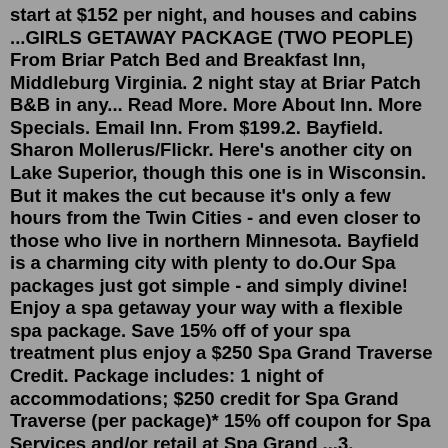start at $152 per night, and houses and cabins ...GIRLS GETAWAY PACKAGE (TWO PEOPLE) From Briar Patch Bed and Breakfast Inn, Middleburg Virginia. 2 night stay at Briar Patch B&B in any... Read More. More About Inn. More Specials. Email Inn. From $199.2. Bayfield. Sharon Mollerus/Flickr. Here's another city on Lake Superior, though this one is in Wisconsin. But it makes the cut because it's only a few hours from the Twin Cities - and even closer to those who live in northern Minnesota. Bayfield is a charming city with plenty to do.Our Spa packages just got simple - and simply divine! Enjoy a spa getaway your way with a flexible spa package. Save 15% off of your spa treatment plus enjoy a $250 Spa Grand Traverse Credit. Package includes: 1 night of accommodations; $250 credit for Spa Grand Traverse (per package)* 15% off coupon for Spa Services and/or retail at Spa Grand ...3. Volunteer Together. Helping others not only brings you closer to your community, but can also tighten those mother-daughter bonds. Sit down